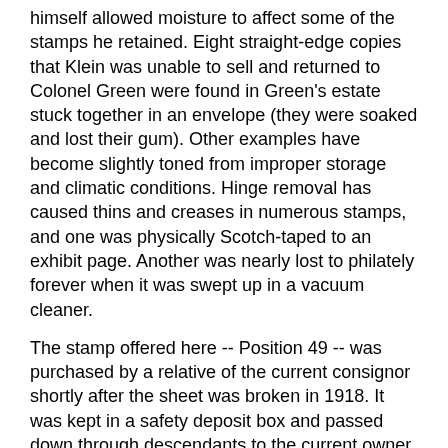himself allowed moisture to affect some of the stamps he retained. Eight straight-edge copies that Klein was unable to sell and returned to Colonel Green were found in Green's estate stuck together in an envelope (they were soaked and lost their gum). Other examples have become slightly toned from improper storage and climatic conditions. Hinge removal has caused thins and creases in numerous stamps, and one was physically Scotch-taped to an exhibit page. Another was nearly lost to philately forever when it was swept up in a vacuum cleaner.
The stamp offered here -- Position 49 -- was purchased by a relative of the current consignor shortly after the sheet was broken in 1918. It was kept in a safety deposit box and passed down through descendants to the current owner, who has decided to release it back onto the market. This stamp was unknown to scholars until recently.
Ex Colonel Edward H. R. Green. Pencil "49" position number (written by Eugene Klein on all 100 positions) on back. With 2018 P.F. certificate (Mint N.H., XF 90)
View the special catalogue for Inverted Jenny Position